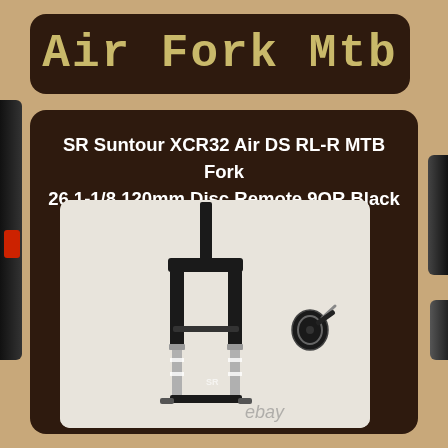Air Fork Mtb
SR Suntour XCR32 Air DS RL-R MTB Fork 26 1-1/8 120mm Disc Remote 9QR Black
[Figure (photo): Product photo of a black SR Suntour XCR32 Air DS RL-R MTB bicycle suspension fork with silver lower legs, shown with a remote lockout lever component, on a white/light gray background. An eBay watermark is visible at the bottom right.]